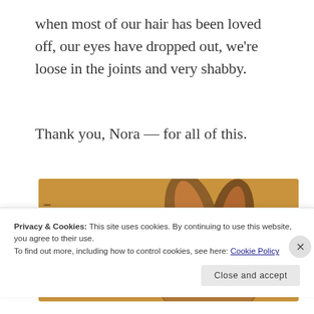when most of our hair has been loved off, our eyes have dropped out, we're loose in the joints and very shabby.
Thank you, Nora — for all of this.
[Figure (illustration): Illustration of a worn stuffed rabbit toy (The Velveteen Rabbit) on a tan/brown background, showing ears and body with dark brown sketch lines]
Privacy & Cookies: This site uses cookies. By continuing to use this website, you agree to their use.
To find out more, including how to control cookies, see here: Cookie Policy
Close and accept